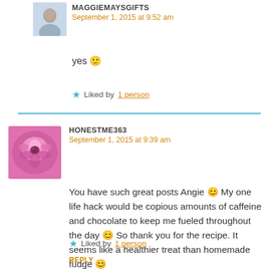[Figure (photo): Small avatar photo of a person (maggiemaysgifts)]
MAGGIEMAYSGIFTS
September 1, 2015 at 9:52 am
yes 🙂
★ Liked by 1 person
[Figure (photo): Square avatar photo of a pink flower (honestme363)]
HONESTME363
September 1, 2015 at 9:39 am
You have such great posts Angie 😊 My one life hack would be copious amounts of caffeine and chocolate to keep me fueled throughout the day 😊 So thank you for the recipe. It seems like a healthier treat than homemade fudge 😊
★ Liked by 1 person
REPLY